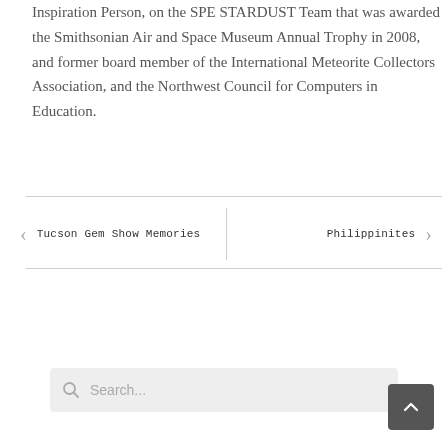Inspiration Person, on the SPE STARDUST Team that was awarded the Smithsonian Air and Space Museum Annual Trophy in 2008, and former board member of the International Meteorite Collectors Association, and the Northwest Council for Computers in Education.
← Tucson Gem Show Memories
Philippinites →